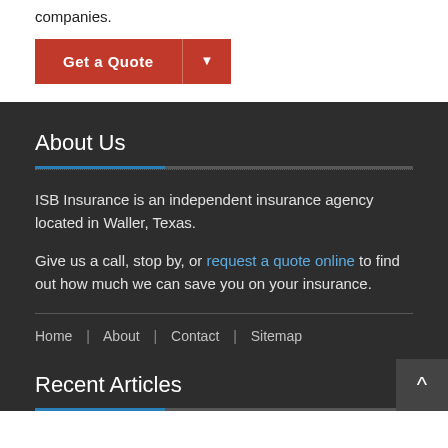companies.
[Figure (other): Red 'Get a Quote' button with dropdown arrow]
About Us
ISB Insurance is an independent insurance agency located in Waller, Texas.
Give us a call, stop by, or request a quote online to find out how much we can save you on your insurance.
Home | About | Contact | Sitemap
Recent Articles